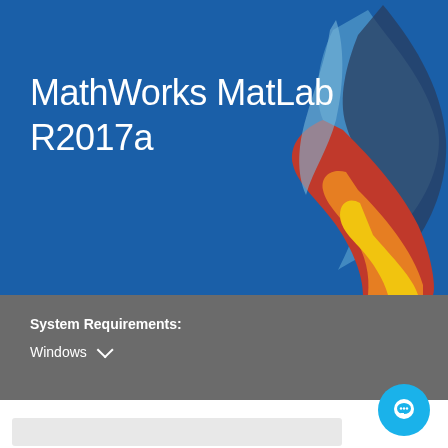[Figure (screenshot): MathWorks MATLAB R2017a product page screenshot showing blue banner with MATLAB logo (colorful spiral/wave graphic in blue, red, orange), title text 'MathWorks MatLab R2017a', a gray system requirements bar with Windows dropdown, white content area below, and a cyan chat button in bottom right corner.]
MathWorks MatLab R2017a
System Requirements:
Windows